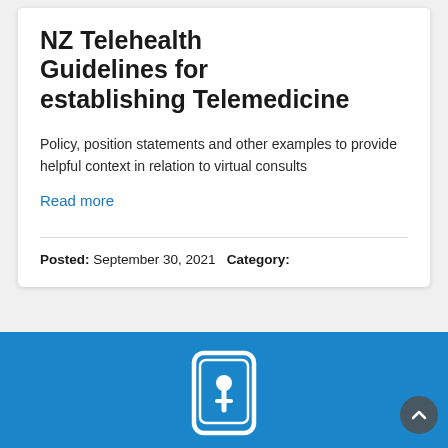NZ Telehealth Guidelines for establishing Telemedicine
Policy, position statements and other examples to provide helpful context in relation to virtual consults
Read more
Posted: September 30, 2021   Category:
[Figure (illustration): Blue banner with a white smartphone/device icon in the center, showing a stylized person or key symbol inside a rounded rectangle.]